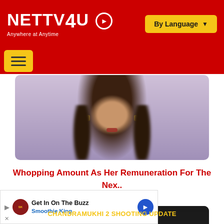NETTV4U — Anywhere at Anytime | By Language
[Figure (photo): Partial face of a woman (lower half visible) with dark hair and earrings, blurred background in purple/lavender tone]
Whopping Amount As Her Remuneration For The Nex..
[Figure (photo): CHANDRAMUKHI 2 SHOOTING UPDATE — two men standing outdoors with trees in background]
Get In On The Buzz Smoothie King